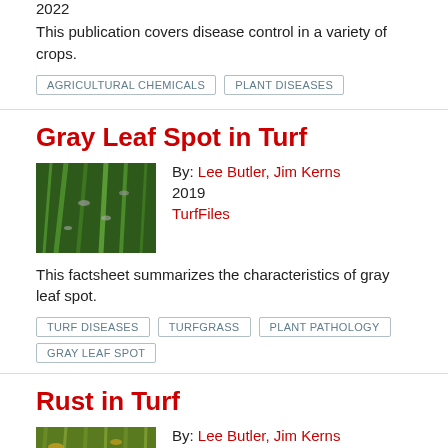2022
This publication covers disease control in a variety of crops.
AGRICULTURAL CHEMICALS
PLANT DISEASES
Gray Leaf Spot in Turf
By: Lee Butler, Jim Kerns
2019
TurfFiles
[Figure (photo): Close-up photograph of grass blades showing gray leaf spot disease symptoms]
This factsheet summarizes the characteristics of gray leaf spot.
TURF DISEASES
TURFGRASS
PLANT PATHOLOGY
GRAY LEAF SPOT
Rust in Turf
By: Lee Butler, Jim Kerns
2019
[Figure (photo): Photograph of turfgrass showing rust disease with yellow-orange coloration]